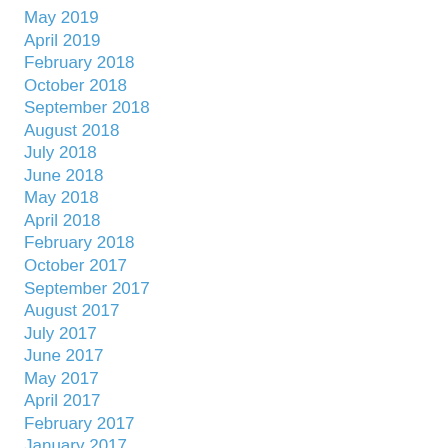May 2019
April 2019
February 2018
October 2018
September 2018
August 2018
July 2018
June 2018
May 2018
April 2018
February 2018
October 2017
September 2017
August 2017
July 2017
June 2017
May 2017
April 2017
February 2017
January 2017
November 2016